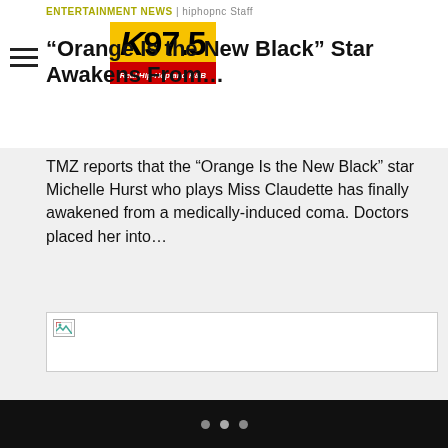ENTERTAINMENT NEWS | hiphopnc Staff
[Figure (logo): K97.5 Real Hip-Hop and R&B radio station logo, yellow background with black bold italic text and red tagline bar]
“Orange Is the New Black” Star Awakens From…
TMZ reports that the “Orange Is the New Black” star Michelle Hurst who plays Miss Claudette has finally awakened from a medically-induced coma. Doctors placed her into…
[Figure (photo): Broken/failed image placeholder]
YEAR IN REVIEW | hiphopnc Staff
Navigation dots